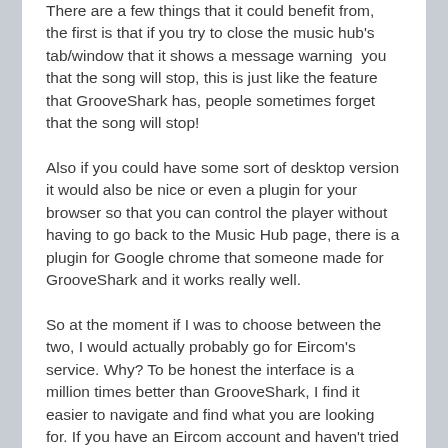There are a few things that it could benefit from, the first is that if you try to close the music hub's tab/window that it shows a message warning you that the song will stop, this is just like the feature that GrooveShark has, people sometimes forget that the song will stop!
Also if you could have some sort of desktop version it would also be nice or even a plugin for your browser so that you can control the player without having to go back to the Music Hub page, there is a plugin for Google chrome that someone made for GrooveShark and it works really well.
So at the moment if I was to choose between the two, I would actually probably go for Eircom's service. Why? To be honest the interface is a million times better than GrooveShark, I find it easier to navigate and find what you are looking for. If you have an Eircom account and haven't tried it out yet, then head on over to the MusicHub!